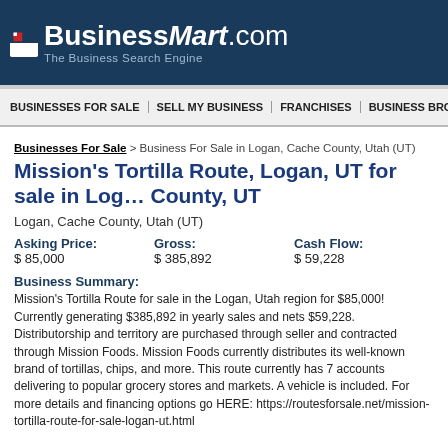BusinessMart.com — The Business Search Engine
BUSINESSES FOR SALE | SELL MY BUSINESS | FRANCHISES | BUSINESS BRO
Businesses For Sale > Business For Sale in Logan, Cache County, Utah (UT)
Mission's Tortilla Route, Logan, UT for sale in Logan County, UT
Logan, Cache County, Utah (UT)
| Asking Price: | Gross: | Cash Flow: |
| --- | --- | --- |
| $ 85,000 | $ 385,892 | $ 59,228 |
Business Summary:
Mission's Tortilla Route for sale in the Logan, Utah region for $85,000! Currently generating $385,892 in yearly sales and nets $59,228. Distributorship and territory are purchased through seller and contracted through Mission Foods. Mission Foods currently distributes its well-known brand of tortillas, chips, and more. This route currently has 7 accounts delivering to popular grocery stores and markets. A vehicle is included. For more details and financing options go HERE: https://routesforsale.net/mission-tortilla-route-for-sale-logan-ut.html